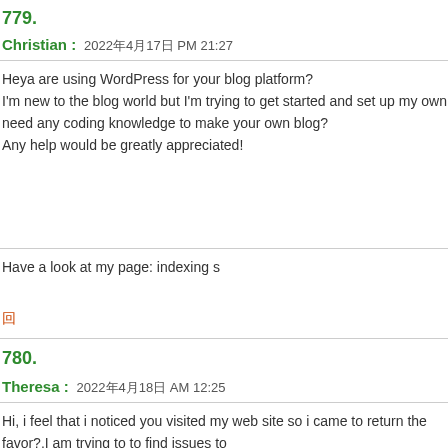779.
Christian : 2022年4月17日 PM 21:27
Heya are using WordPress for your blog platform? I'm new to the blog world but I'm trying to get started and set up my own. Do you need any coding knowledge to make your own blog? Any help would be greatly appreciated!
Have a look at my page: indexing s
回
780.
Theresa : 2022年4月18日 AM 12:25
Hi, i feel that i noticed you visited my web site so i came to return the favor?.I am trying to to find issues to